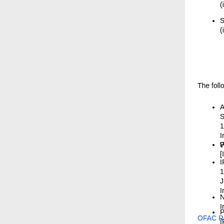(individual) [NPWMD] [IFSR].
SAFDARI, Seyed Jaber (a.k.a. SAFDARI SAFDARI, Seyyid Jaber); DOB 1968; alt. (individual) [NPWMD] [IFSR].
The following entities have been added to OFAC
ARIA NIKAN MARINE INDUSTRY (a.k.a. Suite 1, 59 Azadi Ali North Sohrevardi Av 144875, Iran; Aria Nikan Tehran PJS, Su Iran; Suite 4, No. 8 Iraj Alley, Mozafarikha Website www.arianikan.com [NPWMD] [I
FARATECH (a.k.a. FARATECH COMPAN [IFSR].
IRAN POOYA (a.k.a. IRAN POUYA; a.k.a 15187, Tehran, Iran; Main Office: Vanak S Junction, Block 33, Tehran, Iran; Plant: K Iran; Business Registration Document # 5
NEDA INDUSTRIAL GROUP, Address No Iran [NPWMD] [IFSR].
POUYA CONTROL (a.k.a. NAM-AVARAM IRANIAN COMPANY), No. 2, Sharif Alley Iran; No. 2, Sharif Street, Golhak, Sharia [NPWMD] [IFSR].
TARH O PALAYESH, Tehran, Iran [NPWI
TOWLID ABZAR BORESHI IRAN (a.k.a. TABA COMPANY), Northwest of Karaj at 66 Sarhang Sakhaei St., Hafez Avenue, T
OFAC Recent Sanctions